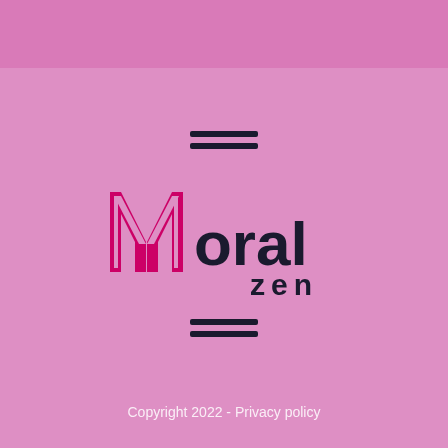[Figure (logo): MoralZen logo with stylized M lettermark in magenta/pink and 'oral' in dark navy, 'zen' in dark navy below, on pink background with hamburger menu icons above and below]
Copyright 2022 - Privacy policy